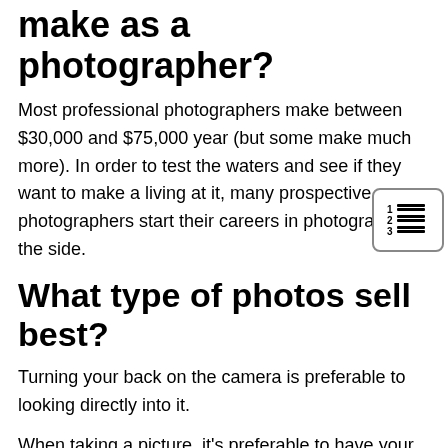How much money can I make as a photographer?
Most professional photographers make between $30,000 and $75,000 year (but some make much more). In order to test the waters and see if they want to make a living at it, many prospective photographers start their careers in photography on the side.
What type of photos sell best?
Turning your back on the camera is preferable to looking directly into it.
When taking a picture, it's preferable to have your